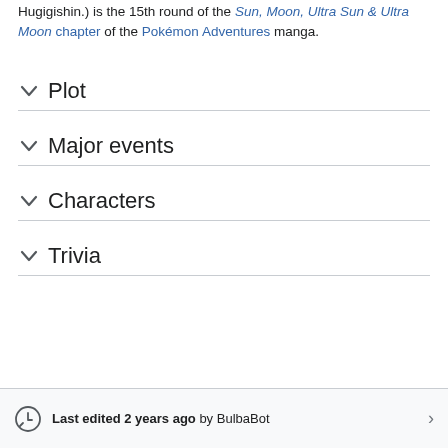Hugigishin.) is the 15th round of the Sun, Moon, Ultra Sun & Ultra Moon chapter of the Pokémon Adventures manga.
Plot
Major events
Characters
Trivia
Last edited 2 years ago by BulbaBot